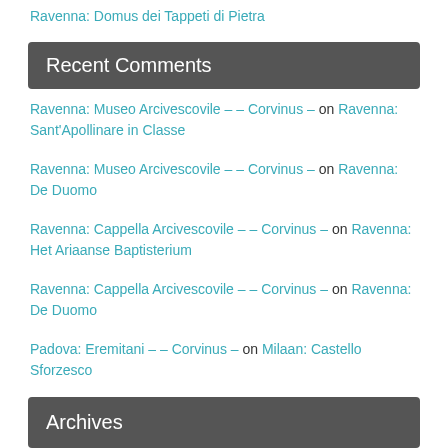Ravenna: Domus dei Tappeti di Pietra
Recent Comments
Ravenna: Museo Arcivescovile – – Corvinus – on Ravenna: Sant'Apollinare in Classe
Ravenna: Museo Arcivescovile – – Corvinus – on Ravenna: De Duomo
Ravenna: Cappella Arcivescovile – – Corvinus – on Ravenna: Het Ariaanse Baptisterium
Ravenna: Cappella Arcivescovile – – Corvinus – on Ravenna: De Duomo
Padova: Eremitani – – Corvinus – on Milaan: Castello Sforzesco
Archives